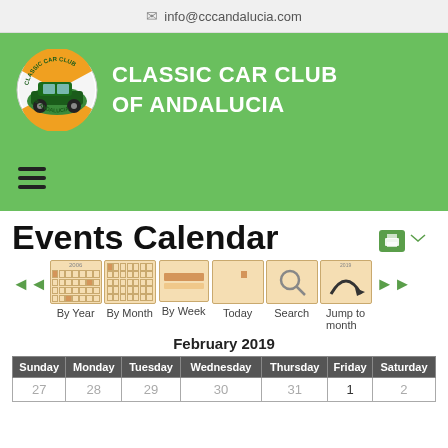info@cccandalucia.com
[Figure (logo): Classic Car Club of Andalucia logo - circular badge with green vintage car]
CLASSIC CAR CLUB OF ANDALUCIA
[Figure (other): Hamburger menu icon (three horizontal lines)]
Events Calendar
[Figure (other): Calendar navigation bar with By Year, By Month, By Week, Today, Search, Jump to month options and left/right arrows]
February 2019
| Sunday | Monday | Tuesday | Wednesday | Thursday | Friday | Saturday |
| --- | --- | --- | --- | --- | --- | --- |
| 27 | 28 | 29 | 30 | 31 | 1 | 2 |